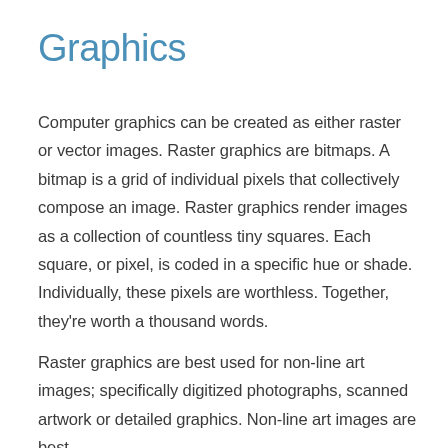Graphics
Computer graphics can be created as either raster or vector images. Raster graphics are bitmaps. A bitmap is a grid of individual pixels that collectively compose an image. Raster graphics render images as a collection of countless tiny squares. Each square, or pixel, is coded in a specific hue or shade. Individually, these pixels are worthless. Together, they're worth a thousand words.
Raster graphics are best used for non-line art images; specifically digitized photographs, scanned artwork or detailed graphics. Non-line art images are best